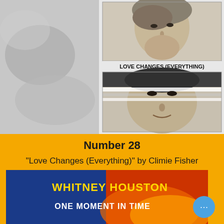[Figure (photo): Album cover art for 'Love Changes (Everything)' by Climie Fisher. Top half shows a black-and-white photograph of a young man with long hair. A text label reads 'LOVE CHANGES (EVERYTHING)'. Below is a second black-and-white photo of another man with a horizontal light streak across his eyes. Left side has a blurred grey abstract background.]
Number 28
"Love Changes (Everything)" by Climie Fisher
[Figure (photo): Album cover for Whitney Houston 'One Moment in Time' showing the title text in bold yellow and white against a colorful background with blue elements. A blue circular button with three dots (more options) overlays the bottom right corner.]